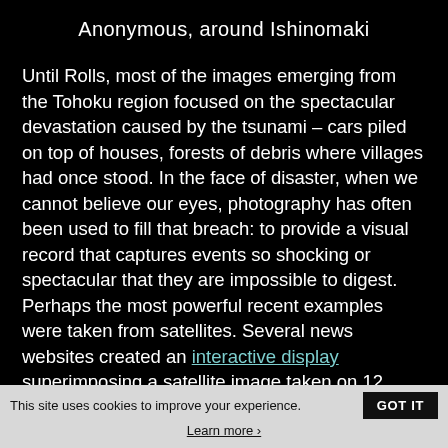Anonymous, around Ishinomaki
Until Rolls, most of the images emerging from the Tohoku region focused on the spectacular devastation caused by the tsunami – cars piled on top of houses, forests of debris where villages had once stood. In the face of disaster, when we cannot believe our eyes, photography has often been used to fill that breach: to provide a visual record that captures events so shocking or spectacular that they are impossible to digest. Perhaps the most powerful recent examples were taken from satellites. Several news websites created an interactive display superimposing a satellite image taken on 12 March over an image taken some time before the tsunami. By swiping across
This site uses cookies to improve your experience.
GOT IT
Learn more ›